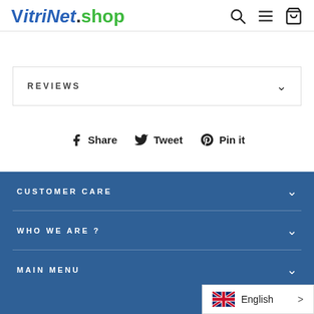VitriNet.shop
REVIEWS
Share  Tweet  Pin it
CUSTOMER CARE
WHO WE ARE ?
MAIN MENU
English